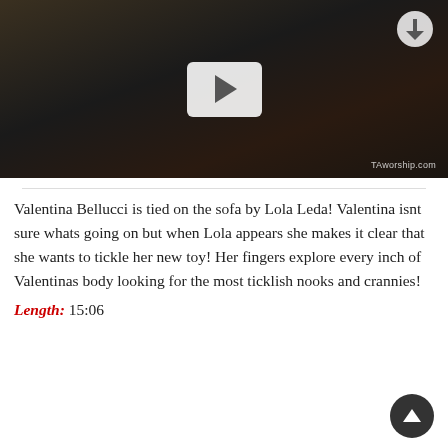[Figure (screenshot): Video thumbnail showing two people on a black leather sofa in a library setting, with a play button overlay and a download icon in the top right. Watermark reads TAworship.com]
Valentina Bellucci is tied on the sofa by Lola Leda! Valentina isnt sure whats going on but when Lola appears she makes it clear that she wants to tickle her new toy! Her fingers explore every inch of Valentinas body looking for the most ticklish nooks and crannies!
Length: 15:06